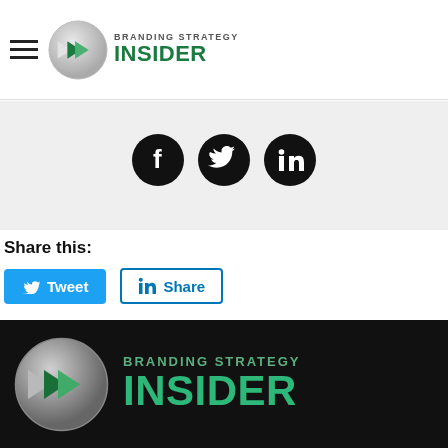Branding Strategy Insider
[Figure (logo): Branding Strategy Insider logo with green double-arrow chevron inside a sphere and text 'BRANDING STRATEGY INSIDER']
[Figure (infographic): Social media icons: Facebook, Twitter, LinkedIn — black circular icons on grey background]
Share this:
[Figure (infographic): Tweet button (blue) and LinkedIn Share button (white/blue outline)]
[Figure (logo): Branding Strategy Insider large logo on dark/black background footer]